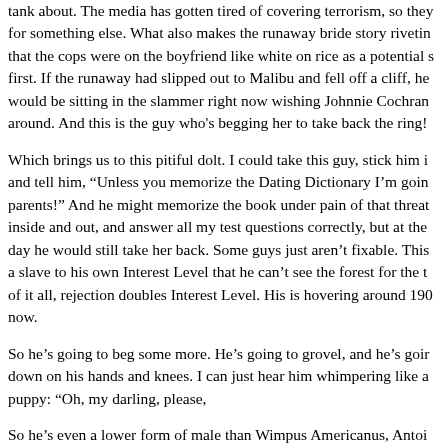tank about. The media has gotten tired of covering terrorism, so they for something else. What also makes the runaway bride story riveting that the cops were on the boyfriend like white on rice as a potential s first. If the runaway had slipped out to Malibu and fell off a cliff, he would be sitting in the slammer right now wishing Johnnie Cochran around. And this is the guy who's begging her to take back the ring!
Which brings us to this pitiful dolt. I could take this guy, stick him i and tell him, "Unless you memorize the Dating Dictionary I'm goin parents!" And he might memorize the book under pain of that threat inside and out, and answer all my test questions correctly, but at the day he would still take her back. Some guys just aren't fixable. This a slave to his own Interest Level that he can't see the forest for the t of it all, rejection doubles Interest Level. His is hovering around 190 now.
So he's going to beg some more. He's going to grovel, and he's goir down on his hands and knees. I can just hear him whimpering like a puppy: "Oh, my darling, please,
So he's even a lower form of male than Wimpus Americanus, Antoi what's called a STOOGE. He's just not getting it at all. If they ever r river after him, it would be DE-NIAL, just like the one in Egypt. Th ego is in such a state of shock that to protect himself he has to put a on the very ugly thing that went down.